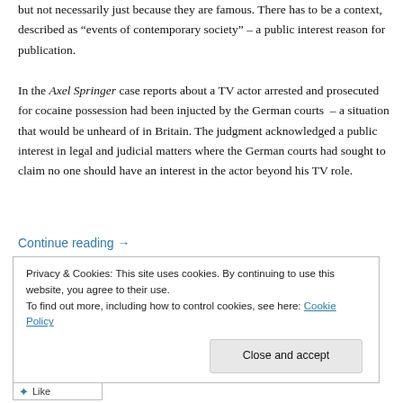but not necessarily just because they are famous. There has to be a context, described as “events of contemporary society” – a public interest reason for publication.
In the Axel Springer case reports about a TV actor arrested and prosecuted for cocaine possession had been injucted by the German courts – a situation that would be unheard of in Britain. The judgment acknowledged a public interest in legal and judicial matters where the German courts had sought to claim no one should have an interest in the actor beyond his TV role.
Continue reading →
Privacy & Cookies: This site uses cookies. By continuing to use this website, you agree to their use.
To find out more, including how to control cookies, see here: Cookie Policy
Close and accept
Like